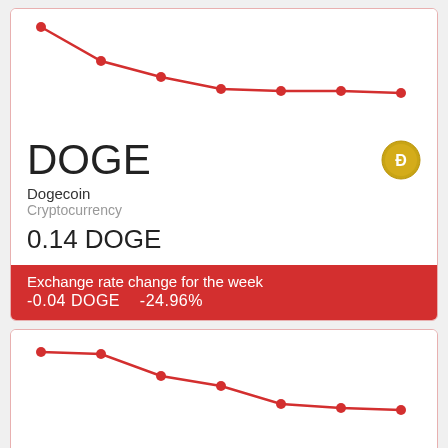[Figure (line-chart): Downward trending red line chart with dots for DOGE cryptocurrency exchange rate over the week]
DOGE
Dogecoin
Cryptocurrency
0.14 DOGE
Exchange rate change for the week -0.04 DOGE   -24.96%
[Figure (line-chart): Downward trending red line chart with dots for GBP British Pound exchange rate over the week]
GBP
British Pound
United Kingdom